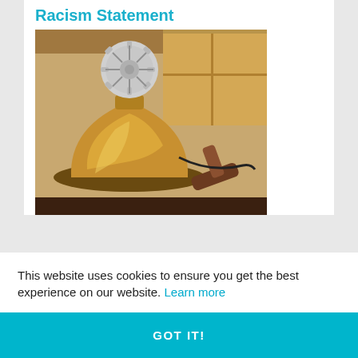Racism Statement
[Figure (photo): A brass Rotary International bell trophy with the Rotary gear/wheel emblem on top, sitting on a wooden surface alongside a wooden gavel.]
This website uses cookies to ensure you get the best experience on our website. Learn more
GOT IT!